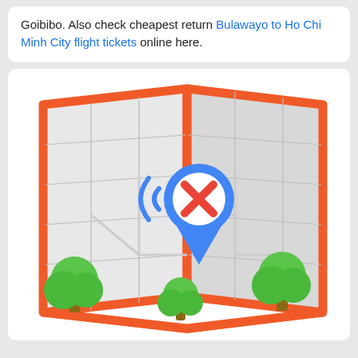Goibibo. Also check cheapest return Bulawayo to Ho Chi Minh City flight tickets online here.
[Figure (illustration): Illustration of an open folded map with an orange border and grid lines, a blue location pin with a red X mark and signal waves beside it, and three green cartoon trees at the bottom left, center, and right of the map.]